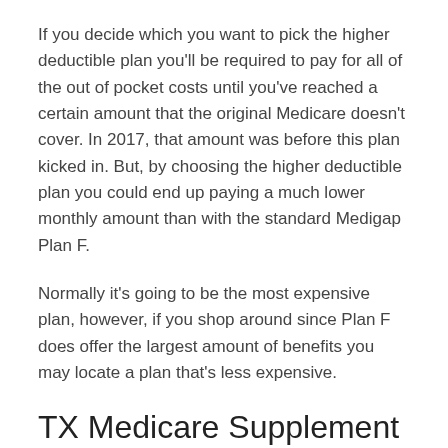If you decide which you want to pick the higher deductible plan you'll be required to pay for all of the out of pocket costs until you've reached a certain amount that the original Medicare doesn't cover. In 2017, that amount was before this plan kicked in. But, by choosing the higher deductible plan you could end up paying a much lower monthly amount than with the standard Medigap Plan F.
Normally it's going to be the most expensive plan, however, if you shop around since Plan F does offer the largest amount of benefits you may locate a plan that's less expensive.
TX Medicare Supplement Plan G
This particular Medigap plan is one that offers most of the same benefits. The most important...